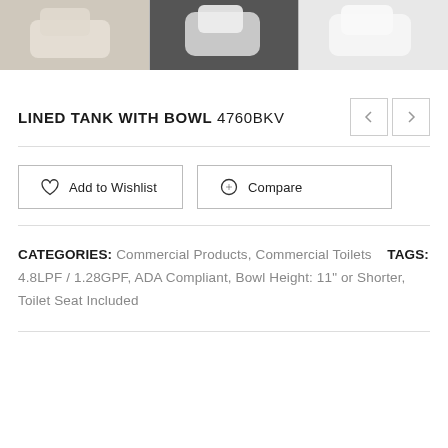[Figure (photo): Three product thumbnail images of a lined tank toilet with bowl, shown from different angles. Left: beige/tan background, center: dark gray background, right: white/light background.]
LINED TANK WITH BOWL 4760BKV
Add to Wishlist   Compare
CATEGORIES: Commercial Products, Commercial Toilets   TAGS: 4.8LPF / 1.28GPF, ADA Compliant, Bowl Height: 11" or Shorter, Toilet Seat Included